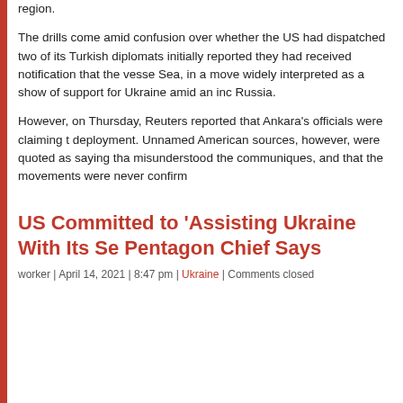region.
The drills come amid confusion over whether the US had dispatched two of its Turkish diplomats initially reported they had received notification that the vesse Sea, in a move widely interpreted as a show of support for Ukraine amid an inc Russia.
However, on Thursday, Reuters reported that Ankara's officials were claiming t deployment. Unnamed American sources, however, were quoted as saying tha misunderstood the communiques, and that the movements were never confirm
Think your friends would be interested? Share this story!
Share this:
Email | Print | Facebook | Twitter
US Committed to 'Assisting Ukraine With Its Se Pentagon Chief Says
worker | April 14, 2021 | 8:47 pm | Ukraine | Comments closed